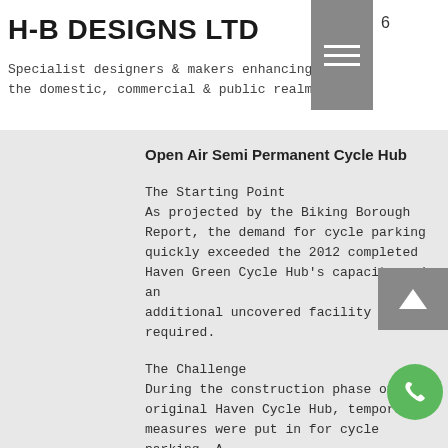H-B DESIGNS LTD
Specialist designers & makers enhancing the domestic, commercial & public realm
Open Air Semi Permanent Cycle Hub
The Starting Point
As projected by the Biking Borough Report, the demand for cycle parking quickly exceeded the 2012 completed Haven Green Cycle Hub's capacity and an additional uncovered facility was required.
The Challenge
During the construction phase of the original Haven Cycle Hub, temporary measures were put in for cycle parking. A more permanent, yet dismountable solution was required that met with the Haven Green requirement of not losing further green space and improving the bus waiting areas along the green.
Stakeholder consultation